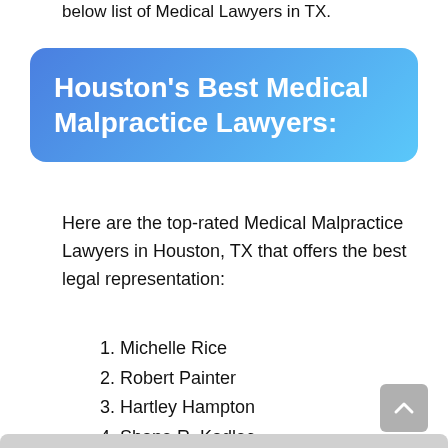below list of Medical Lawyers in TX.
Houston's Best Medical Malpractice Lawyers:
Here are the top-rated Medical Malpractice Lawyers in Houston, TX that offers the best legal representation:
1. Michelle Rice
2. Robert Painter
3. Hartley Hampton
4. Shane R. Kadlec
5. Christopher Fletcher